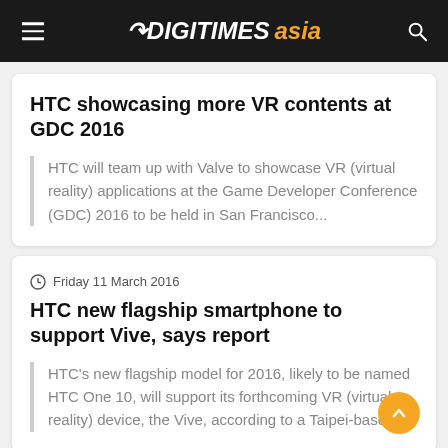DIGITIMES asia
HTC showcasing more VR contents at GDC 2016
HTC will team up with Valve to showcase VR (virtual reality) applications at the Game Developer Conference (GDC) 2016 to be held in San Francisco...
Friday 11 March 2016
HTC new flagship smartphone to support Vive, says report
HTC's new flagship model for 2016, likely to be named HTC One 10, will support its forthcoming VR (virtual reality) device, the Vive, according to a Taipei-based...